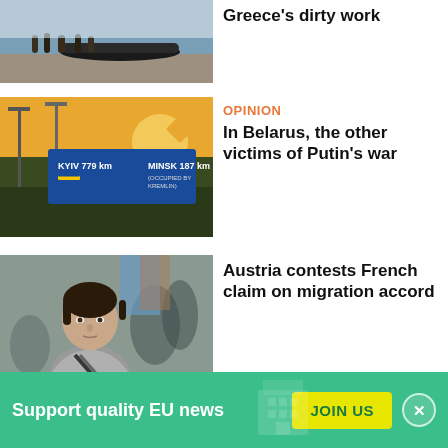[Figure (photo): Photo of people on a rocky beach with an inflatable dinghy boat near water]
Greece's dirty work
[Figure (photo): Photo of a road sign showing KYIV 779 km and MINSK 187 km (OCCUPIED BY KREMLIN) at a railway/road junction at sunset]
OPINION
In Belarus, the other victims of Putin's war
[Figure (photo): Photo of a young man in a grey t-shirt in what appears to be a migrant shelter, with other people in the background]
Austria contests French claim on migration accord
Support quality EU news
JOIN US